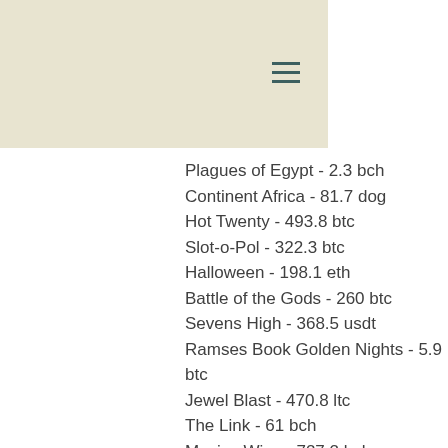Plagues of Egypt - 2.3 bch
Continent Africa - 81.7 dog
Hot Twenty - 493.8 btc
Slot-o-Pol - 322.3 btc
Halloween - 198.1 eth
Battle of the Gods - 260 btc
Sevens High - 368.5 usdt
Ramses Book Golden Nights - 5.9 btc
Jewel Blast - 470.8 ltc
The Link - 61 bch
Mexico Wins - 727.2 bch
Vacation Station Deluxe - 701.6 btc
Bubble Craze - 567.3 eth
Best Slots Games:
BitStarz Casino Black Beauty
Bspin.io Casino Vikings Go Wild